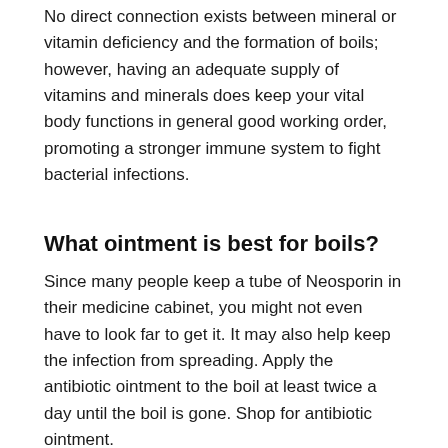No direct connection exists between mineral or vitamin deficiency and the formation of boils; however, having an adequate supply of vitamins and minerals does keep your vital body functions in general good working order, promoting a stronger immune system to fight bacterial infections.
What ointment is best for boils?
Since many people keep a tube of Neosporin in their medicine cabinet, you might not even have to look far to get it. It may also help keep the infection from spreading. Apply the antibiotic ointment to the boil at least twice a day until the boil is gone. Shop for antibiotic ointment.
Why do I keep getting boils on my private area?
Boils near the vagina are caused by bacteria that enter through the skin and infect a hair follicle. Keeping your